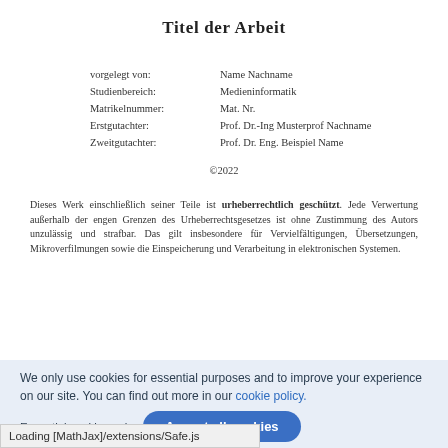Titel der Arbeit
| vorgelegt von: | Name Nachname |
| Studienbereich: | Medieninformatik |
| Matrikelnummer: | Mat. Nr. |
| Erstgutachter: | Prof. Dr.-Ing Musterprof Nachname |
| Zweitgutachter: | Prof. Dr. Eng. Beispiel Name |
©2022
Dieses Werk einschließlich seiner Teile ist urheberrechtlich geschützt. Jede Verwertung außerhalb der engen Grenzen des Urheberrechtsgesetzes ist ohne Zustimmung des Autors unzulässig und strafbar. Das gilt insbesondere für Vervielfältigungen, Übersetzungen, Mikroverfilmungen sowie die Einspeicherung und Verarbeitung in elektronischen Systemen.
We only use cookies for essential purposes and to improve your experience on our site. You can find out more in our cookie policy.
Essential cookies only   Accept all cookies
Loading [MathJax]/extensions/Safe.js